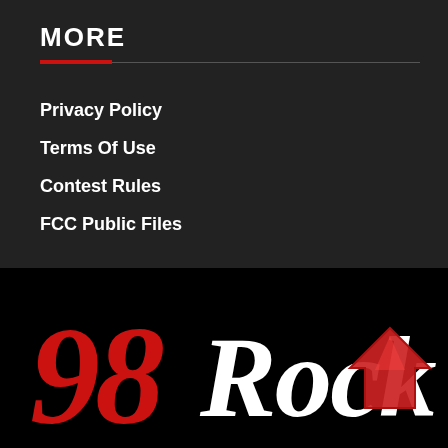MORE
Privacy Policy
Terms Of Use
Contest Rules
FCC Public Files
[Figure (logo): 98 Rock radio station logo with large red '98' in script and white 'Rock' text with a red upward arrow accent]